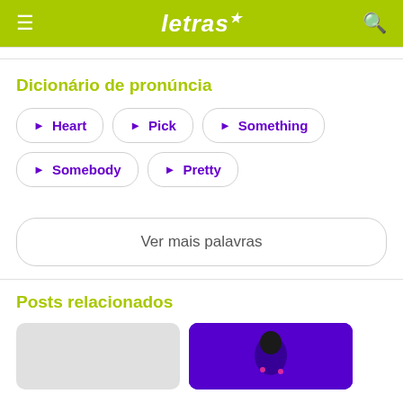letras
Dicionário de pronúncia
Heart
Pick
Something
Somebody
Pretty
Ver mais palavras
Posts relacionados
[Figure (photo): Thumbnail image placeholder (grey)]
[Figure (photo): Thumbnail image with person against blue/purple background]